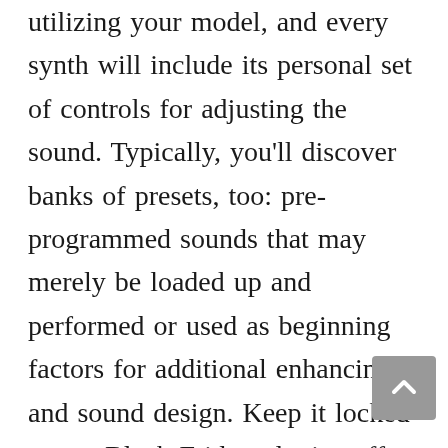utilizing your model, and every synth will include its personal set of controls for adjusting the sound. Typically, you'll discover banks of presets, too: pre-programmed sounds that may merely be loaded up and performed or used as beginning factors for additional enhancing and sound design. Keep it locked to our Black Friday plugins offers web page for all the most recent and greatest software program provides. There are a wide range of plugin requirements on the market, so before you purchase any plugin synth, you have to ensure that your DAW is appropriate with it. On the Pc Steinberg's